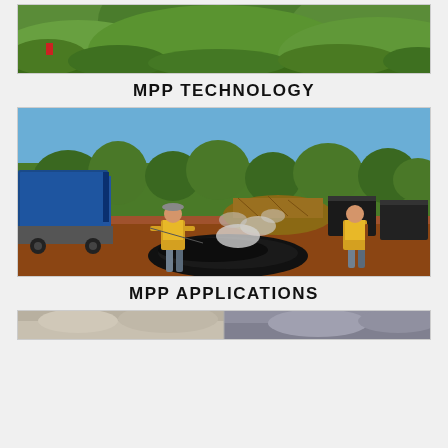[Figure (photo): Green forested hills landscape with lush vegetation, partial view, top portion of image]
MPP TECHNOLOGY
[Figure (photo): Outdoor industrial scene with two workers in yellow high-visibility vests. One worker sprays water on a pile of black material (processed rubber/tyre crumb) producing steam. A blue shipping container on a truck trailer is on the left. Piles of waste materials and black containers are in the background. Red dirt ground, trees in background, clear blue sky.]
MPP APPLICATIONS
[Figure (photo): Bottom strip of another photo, partially visible]